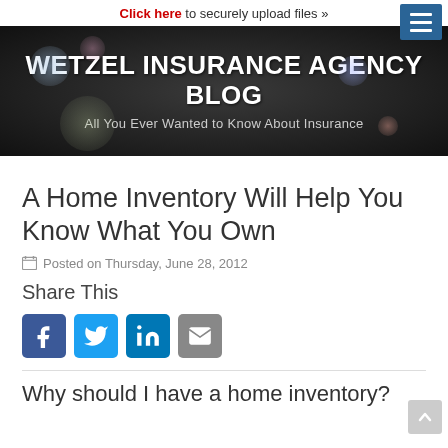Click here to securely upload files »
WETZEL INSURANCE AGENCY BLOG
All You Ever Wanted to Know About Insurance
A Home Inventory Will Help You Know What You Own
Posted on Thursday, June 28, 2012
Share This
[Figure (other): Social sharing icons: Facebook, Twitter, LinkedIn, Email]
Why should I have a home inventory?